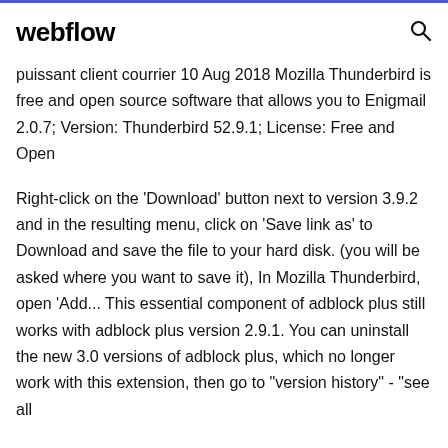webflow
puissant client courrier 10 Aug 2018 Mozilla Thunderbird is free and open source software that allows you to Enigmail 2.0.7; Version: Thunderbird 52.9.1; License: Free and Open
Right-click on the 'Download' button next to version 3.9.2 and in the resulting menu, click on 'Save link as' to Download and save the file to your hard disk. (you will be asked where you want to save it), In Mozilla Thunderbird, open 'Add... This essential component of adblock plus still works with adblock plus version 2.9.1. You can uninstall the new 3.0 versions of adblock plus, which no longer work with this extension, then go to "version history" - "see all